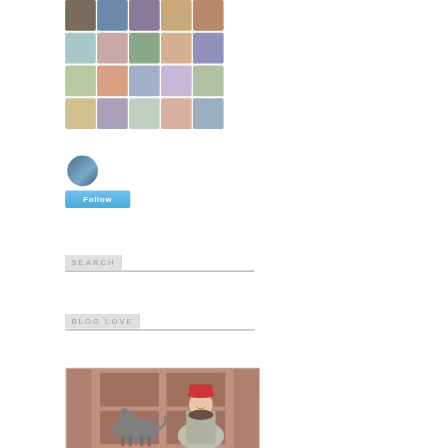[Figure (photo): Grid of circular follower avatar thumbnails arranged in 4 rows of 5 avatars each]
[Figure (photo): Single circular avatar thumbnail of a person]
[Figure (other): Blue Follow button]
SEARCH
BLOG LOVE
[Figure (photo): Photo of a person wearing a red hat standing with a dog in front of a reddish-brown door]